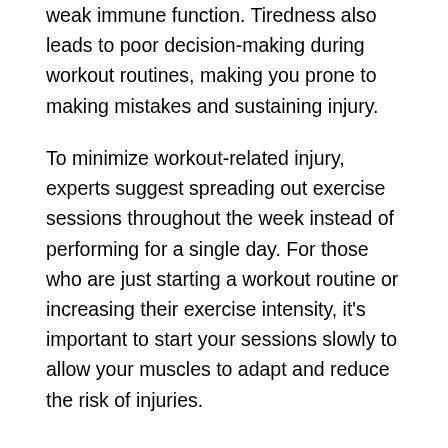weak immune function. Tiredness also leads to poor decision-making during workout routines, making you prone to making mistakes and sustaining injury.
To minimize workout-related injury, experts suggest spreading out exercise sessions throughout the week instead of performing for a single day. For those who are just starting a workout routine or increasing their exercise intensity, it's important to start your sessions slowly to allow your muscles to adapt and reduce the risk of injuries.
Promotes relaxation
Most people, particularly athletes, dread the idea of taking the day off. The truth is, recovery days can make a big difference in the quality of your training or exercise. The amount of rest days required varies per person, but experts